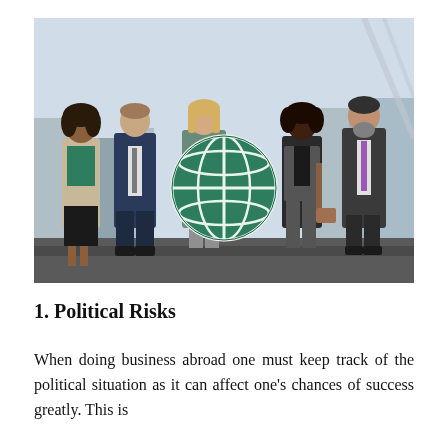[Figure (photo): Five business professionals standing outdoors in a city, one holding a large globe/world icon. Diverse group of men and women in business attire with urban skyline in background.]
1. Political Risks
When doing business abroad one must keep track of the political situation as it can affect one's chances of success greatly. This is